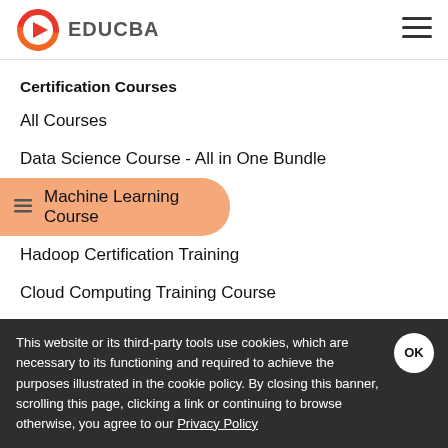EDUCBA
Certification Courses
All Courses
Data Science Course - All in One Bundle
Machine Learning Course
Hadoop Certification Training
Cloud Computing Training Course
This website or its third-party tools use cookies, which are necessary to its functioning and required to achieve the purposes illustrated in the cookie policy. By closing this banner, scrolling this page, clicking a link or continuing to browse otherwise, you agree to our Privacy Policy